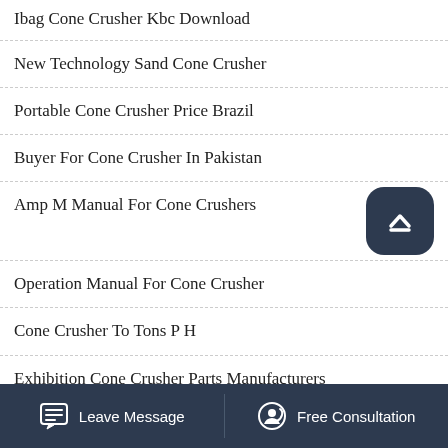Ibag Cone Crusher Kbc Download
New Technology Sand Cone Crusher
Portable Cone Crusher Price Brazil
Buyer For Cone Crusher In Pakistan
Amp M Manual For Cone Crushers
Operation Manual For Cone Crusher
Cone Crusher To Tons P H
Exhibition Cone Crusher Parts Manufacturers
Leave Message   Free Consultation